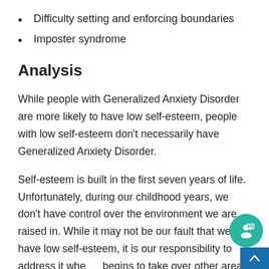Difficulty setting and enforcing boundaries
Imposter syndrome
Analysis
While people with Generalized Anxiety Disorder are more likely to have low self-esteem, people with low self-esteem don't necessarily have Generalized Anxiety Disorder.
Self-esteem is built in the first seven years of life. Unfortunately, during our childhood years, we don't have control over the environment we are raised in. While it may not be our fault that we have low self-esteem, it is our responsibility to address it when it begins to take over other areas of our lives. It is also essential to consider all environmental facts that may